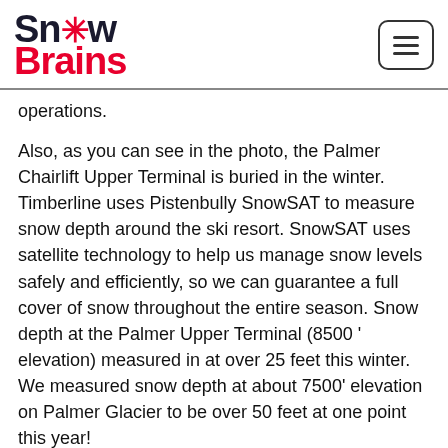SnowBrains
operations.
Also, as you can see in the photo, the Palmer Chairlift Upper Terminal is buried in the winter. Timberline uses Pistenbully SnowSAT to measure snow depth around the ski resort. SnowSAT uses satellite technology to help us manage snow levels safely and efficiently, so we can guarantee a full cover of snow throughout the entire season. Snow depth at the Palmer Upper Terminal (8500 ' elevation) measured in at over 25 feet this winter. We measured snow depth at about 7500' elevation on Palmer Glacier to be over 50 feet at one point this year!
Timberline offers the longest ski season in North America. In ideal years, lifts are open October through August, with maintenance scheduled for each September. Ski season alo...